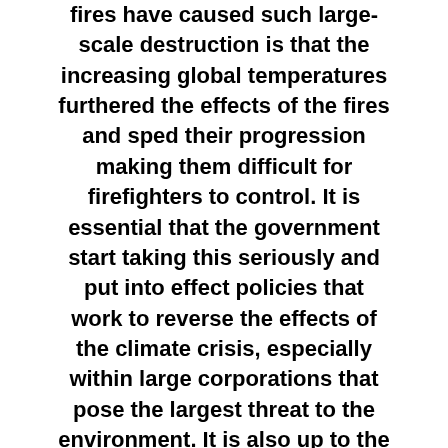fires have caused such large-scale destruction is that the increasing global temperatures furthered the effects of the fires and sped their progression making them difficult for firefighters to control. It is essential that the government start taking this seriously and put into effect policies that work to reverse the effects of the climate crisis, especially within large corporations that pose the largest threat to the environment. It is also up to the citizens of the communities being affected to speak up about how they have been affected, for others to write to local and federal employees to enact change, and for the climate crisis to be taken